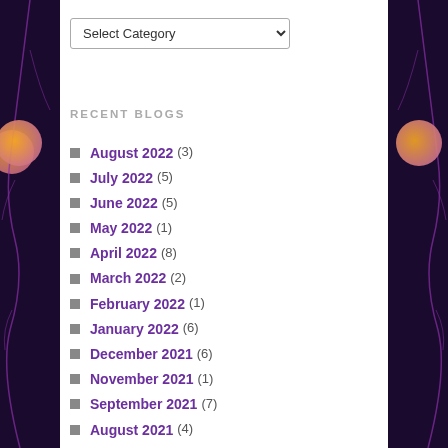Select Category
RECENT BLOGS
August 2022 (3)
July 2022 (5)
June 2022 (5)
May 2022 (1)
April 2022 (8)
March 2022 (2)
February 2022 (1)
January 2022 (6)
December 2021 (6)
November 2021 (1)
September 2021 (7)
August 2021 (4)
July 2021 (1)
June 2021 (2)
May 2021 (3)
April 2021 (6)
March 2021 (4)
February 2021 (7)